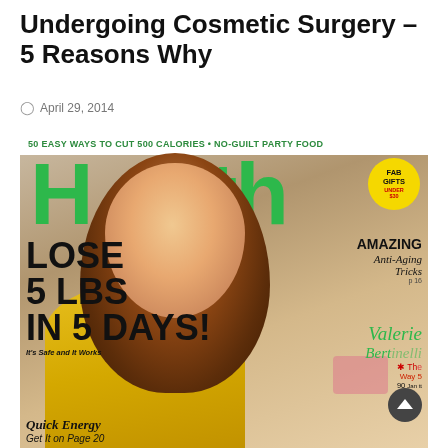Undergoing Cosmetic Surgery – 5 Reasons Why
April 29, 2014
[Figure (photo): Cover of Health magazine featuring a smiling woman with long brown hair wearing a yellow top. Headlines include: '50 EASY WAYS TO CUT 500 CALORIES • NO-GUILT PARTY FOOD', 'Health' logo in green, 'FAB GIFTS UNDER $30' badge, 'LOSE 5 LBS IN 5 DAYS! It's Safe and It Works', 'AMAZING Anti-Aging Tricks p16', 'Valerie Bertinelli', 'Quick Energy Get It on Page 20'.]